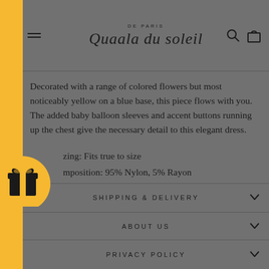DE PARIS — Quaala du soleil
Decorated with a range of colored flowers but most noticeably yellow on a blue base, this piece flows with you. The added baby balloon sleeves and accent buttons running up the chest give the necessary detail to this elegant dress.
Sizing: Fits true to size
Composition: 95% Nylon, 5% Rayon
Model's height is 5'9" and wearing a size 38
Imported
Machine wash cold
SHIPPING & DELIVERY
ABOUT US
PRIVACY POLICY